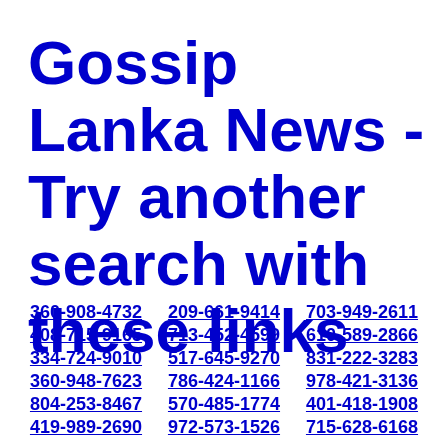Gossip Lanka News - Try another search with these links
360-908-4732  209-661-9414  703-949-2611
408-715-9165  713-452-4599  610-589-2866
334-724-9010  517-645-9270  831-222-3283
360-948-7623  786-424-1166  978-421-3136
804-253-8467  570-485-1774  401-418-1908
419-989-2690  972-573-1526  715-628-6168